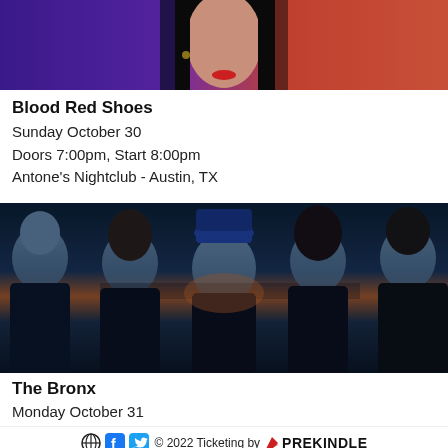[Figure (photo): Close-up photo of a woman with dark hair against a purple/blue and orange background]
Blood Red Shoes
Sunday October 30
Doors 7:00pm, Start 8:00pm
Antone's Nightclub - Austin, TX
[Figure (photo): Photo of five men (band members of The Bronx) against a blue-toned sunset background]
The Bronx
Monday October 31
© 2022 Ticketing by PREKINDLE